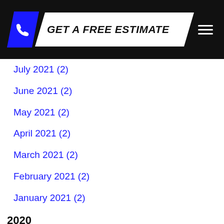GET A FREE ESTIMATE
July 2021 (2)
June 2021 (2)
May 2021 (2)
April 2021 (2)
March 2021 (2)
February 2021 (2)
January 2021 (2)
2020
July 2020 (2)
June 2020 (2)
May 2020 (2)
April 2020 (2)